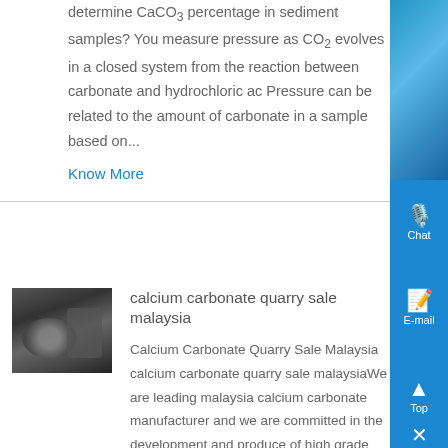determine CaCO3 percentage in sediment samples? You measure pressure as CO2 evolves in a closed system from the reaction between carbonate and hydrochloric ac Pressure can be related to the amount of carbonate in a sample based on...
Know More
[Figure (photo): Industrial machinery photo showing calcium carbonate quarry equipment]
calcium carbonate quarry sale malaysia
Calcium Carbonate Quarry Sale Malaysia calcium carbonate quarry sale malaysiaWe are leading malaysia calcium carbonate manufacturer and we are committed in the development and produce of high grade coated and